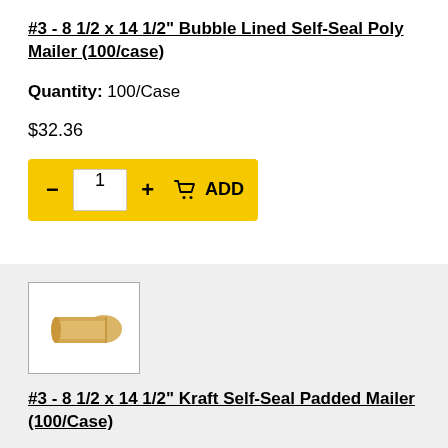#3 - 8 1/2 x 14 1/2" Bubble Lined Self-Seal Poly Mailer (100/case)
Quantity: 100/Case
$32.36
[Figure (screenshot): Add to cart widget with yellow background, minus button, quantity input showing 1, plus button, cart icon and ADD text]
[Figure (photo): Product photo of a kraft padded mailer envelope, shown rolled/open]
#3 - 8 1/2 x 14 1/2" Kraft Self-Seal Padded Mailer (100/Case)